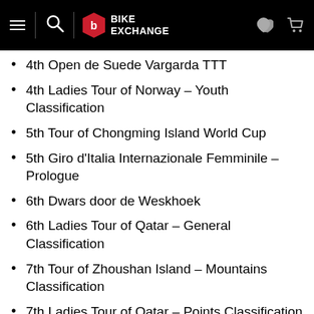BikeExchange
4th Open de Suede Vargarda TTT
4th Ladies Tour of Norway – Youth Classification
5th Tour of Chongming Island World Cup
5th Giro d'Italia Internazionale Femminile – Prologue
6th Dwars door de Weskhoek
6th Ladies Tour of Qatar – General Classification
7th Tour of Zhoushan Island – Mountains Classification
7th Ladies Tour of Qatar – Points Classification
7th Ladies Tour of Norway – Stage 1
7th Ladies Tour of Norway – Pro...